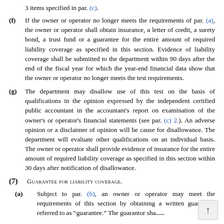3 items specified in par. (c).
(f) If the owner or operator no longer meets the requirements of par. (a), the owner or operator shall obtain insurance, a letter of credit, a surety bond, a trust fund or a guarantee for the entire amount of required liability coverage as specified in this section. Evidence of liability coverage shall be submitted to the department within 90 days after the end of the fiscal year for which the year-end financial data show that the owner or operator no longer meets the test requirements.
(g) The department may disallow use of this test on the basis of qualifications in the opinion expressed by the independent certified public accountant in the accountant's report on examination of the owner's or operator's financial statements (see par. (c) 2.). An adverse opinion or a disclaimer of opinion will be cause for disallowance. The department will evaluate other qualifications on an individual basis. The owner or operator shall provide evidence of insurance for the entire amount of required liability coverage as specified in this section within 30 days after notification of disallowance.
(7) Guarantee for liability coverage.
(a) Subject to par. (b), an owner or operator may meet the requirements of this section by obtaining a written guarantee, referred to as "guarantee." The guarantor sha...